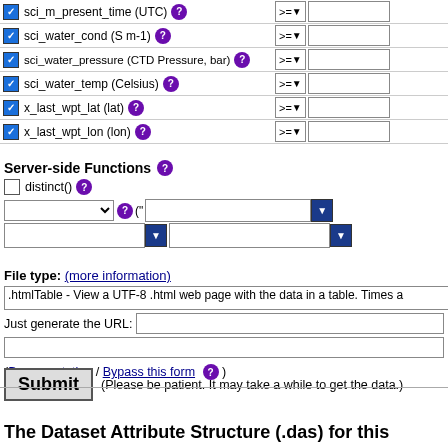sci_m_present_time (UTC)
sci_water_cond (S m-1)
sci_water_pressure (CTD Pressure, bar)
sci_water_temp (Celsius)
x_last_wpt_lat (lat)
x_last_wpt_lon (lon)
Server-side Functions
distinct()
File type: (more information)
.htmlTable - View a UTF-8 .html web page with the data in a table. Times a
Just generate the URL:
(Documentation / Bypass this form)
Submit (Please be patient. It may take a while to get the data.)
The Dataset Attribute Structure (.das) for this